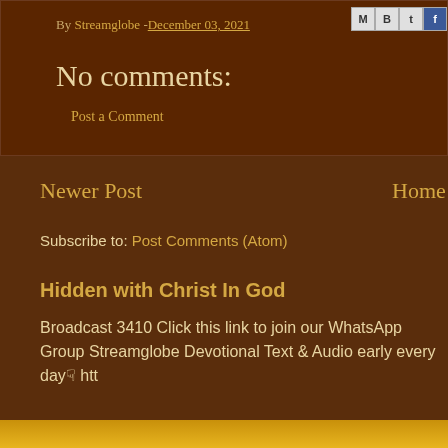By Streamglobe - December 03, 2021
No comments:
Post a Comment
Newer Post
Home
Subscribe to: Post Comments (Atom)
Hidden with Christ In God
Broadcast 3410 Click this link to join our WhatsApp Group Streamglobe Devotional Text & Audio early every day☞ htt
[Figure (photo): Partial golden/yellow image at bottom of page]